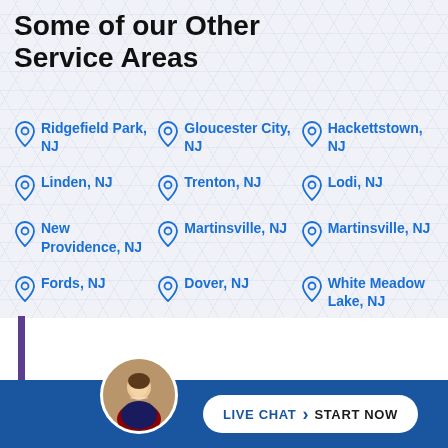Some of our Other Service Areas
Ridgefield Park, NJ
Gloucester City, NJ
Hackettstown, NJ
Linden, NJ
Trenton, NJ
Lodi, NJ
New Providence, NJ
Martinsville, NJ
Martinsville, NJ
Fords, NJ
Dover, NJ
White Meadow Lake, NJ
[Figure (photo): Circular avatar photo of a man in a suit, used for live chat widget]
LIVE CHAT  START NOW